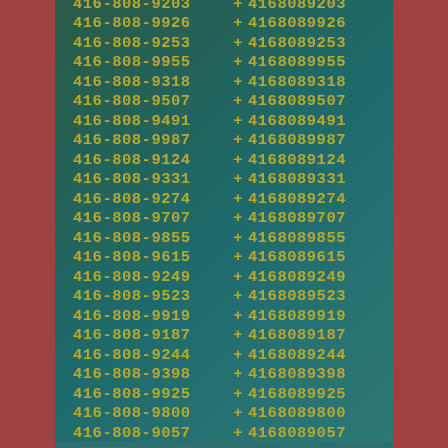| Phone | + | International |
| --- | --- | --- |
| 416-808-9203 | + | 4168089203 |
| 416-808-9926 | + | 4168089926 |
| 416-808-9253 | + | 4168089253 |
| 416-808-9955 | + | 4168089955 |
| 416-808-9318 | + | 4168089318 |
| 416-808-9507 | + | 4168089507 |
| 416-808-9491 | + | 4168089491 |
| 416-808-9987 | + | 4168089987 |
| 416-808-9124 | + | 4168089124 |
| 416-808-9331 | + | 4168089331 |
| 416-808-9274 | + | 4168089274 |
| 416-808-9707 | + | 4168089707 |
| 416-808-9855 | + | 4168089855 |
| 416-808-9615 | + | 4168089615 |
| 416-808-9249 | + | 4168089249 |
| 416-808-9523 | + | 4168089523 |
| 416-808-9919 | + | 4168089919 |
| 416-808-9187 | + | 4168089187 |
| 416-808-9244 | + | 4168089244 |
| 416-808-9398 | + | 4168089398 |
| 416-808-9925 | + | 4168089925 |
| 416-808-9800 | + | 4168089800 |
| 416-808-9057 | + | 4168089057 |